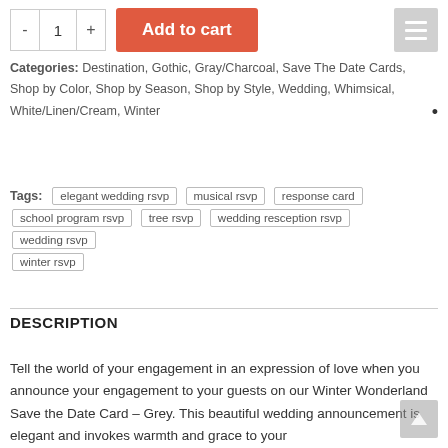Categories: Destination, Gothic, Gray/Charcoal, Save The Date Cards, Shop by Color, Shop by Season, Shop by Style, Wedding, Whimsical, White/Linen/Cream, Winter
Tags: elegant wedding rsvp | musical rsvp | response card | school program rsvp | tree rsvp | wedding resception rsvp | wedding rsvp | winter rsvp
DESCRIPTION
Tell the world of your engagement in an expression of love when you announce your engagement to your guests on our Winter Wonderland Save the Date Card – Grey. This beautiful wedding announcement is elegant and invokes warmth and grace to your